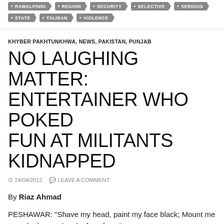RAWALPINDI • REGION • SECURITY • SELECTIVE • SERIOUS
STATE • TALIBAN • VIOLENCE
KHYBER PAKHTUNKHWA, NEWS, PAKISTAN, PUNJAB
NO LAUGHING MATTER: ENTERTAINER WHO POKED FUN AT MILITANTS KIDNAPPED
24/04/2012   LEAVE A COMMENT
By Riaz Ahmad
PESHAWAR: "Shave my head, paint my face black; Mount me on a donkey and make fun of me."